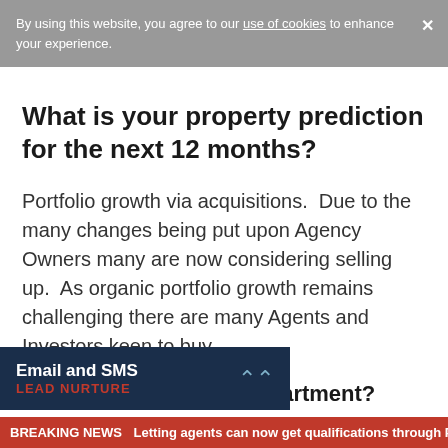By using this website, you agree to our use of cookies to enhance your experience.
What is your property prediction for the next 12 months?
Portfolio growth via acquisitions.  Due to the many changes being put upon Agency Owners many are now considering selling up.  As organic portfolio growth remains challenging there are many Agents and Investors keen to buy.
Country house or city apartment?
Email and SMS LEAD NURTURE
BREAKING NEWS Letting agents can now get qualifications through P